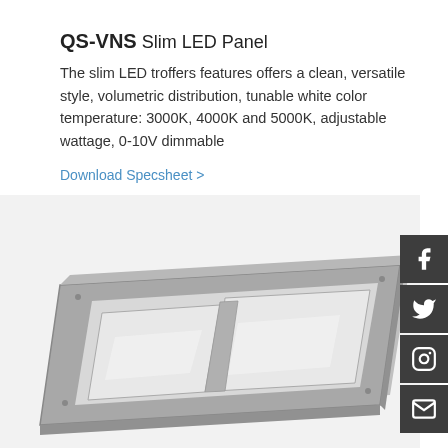QS-VNS Slim LED Panel
The slim LED troffers features offers a clean, versatile style, volumetric distribution, tunable white color temperature: 3000K, 4000K and 5000K, adjustable wattage, 0-10V dimmable
Download Specsheet >
[Figure (photo): A slim LED panel troffer shown in perspective view, with a gray rectangular metal frame and a white diffuser panel insert, with a central dividing bar.]